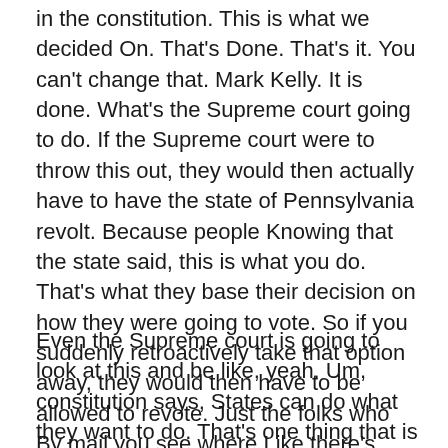in the constitution. This is what we decided On. That's Done. That's it. You can't change that. Mark Kelly. It is done. What's the Supreme court going to do. If the Supreme court were to throw this out, they would then actually have to have the state of Pennsylvania revolt. Because people Knowing that the state said, this is what you do. That's what they base their decision on how they were going to vote. So if you suddenly retroactively take that option away, they would then have to be allowed to revote. Just the folks who By mail you see where Like there's nothing Mark Kelly can do to change this.
Even the Supreme court is going to look at this and be like, yeah. Um, constitution says, States can do what they want to do. That's one thing that is very